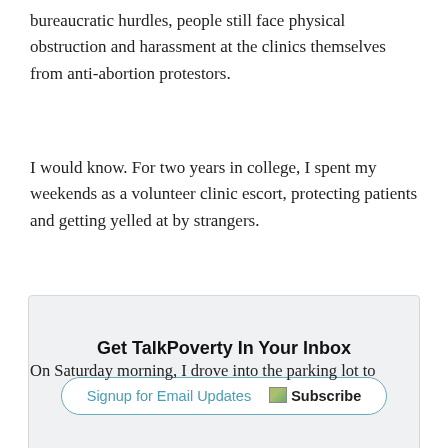bureaucratic hurdles, people still face physical obstruction and harassment at the clinics themselves from anti-abortion protestors.
I would know. For two years in college, I spent my weekends as a volunteer clinic escort, protecting patients and getting yelled at by strangers.
[Figure (other): Email signup box with title 'Get TalkPoverty In Your Inbox' and a button row containing 'Signup for Email Updates' link and 'Subscribe' label with image placeholder]
On Saturday morning, I drove into the parking lot to...